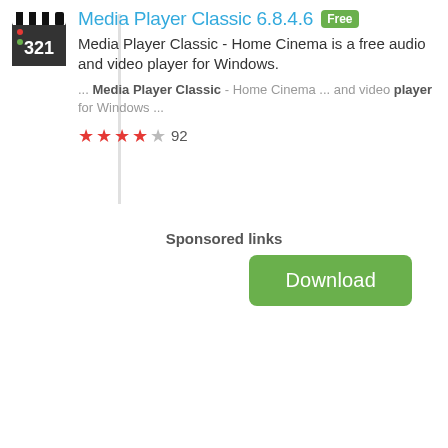[Figure (screenshot): Media Player Classic app icon: clapperboard with '321' text]
Media Player Classic 6.8.4.6  Free
Media Player Classic - Home Cinema is a free audio and video player for Windows.
... Media Player Classic - Home Cinema ... and video player for Windows ...
★★★★☆ 92
[Figure (screenshot): Download button (green rounded rectangle)]
Sponsored links